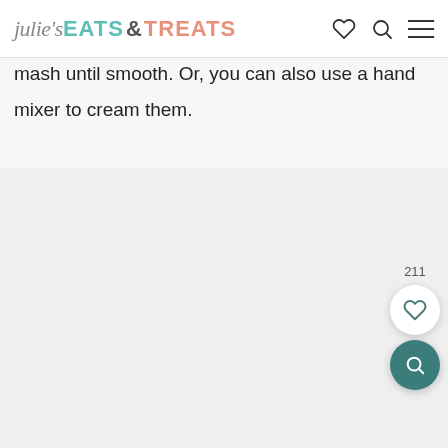julie's EATS & TREATS
mash until smooth. Or, you can also use a hand mixer to cream them.
[Figure (photo): Large image area showing food content, partially cut off at bottom of page]
211